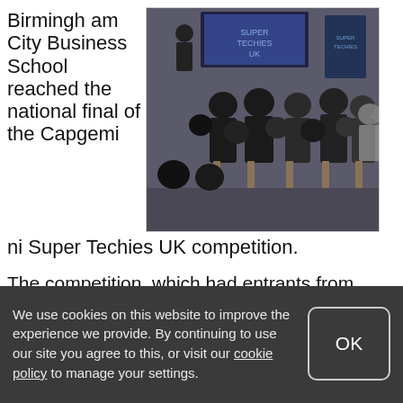Birmingham City Business School reached the national final of the Capgemini Super Techies UK competition.
[Figure (photo): Audience of students seated in chairs attending a business competition event, with a presenter at the front and a screen showing 'Super Techies UK' branding]
The competition, which had entrants from universities across the country, saw students work in teams of two on a business
We use cookies on this website to improve the experience we provide. By continuing to use our site you agree to this, or visit our cookie policy to manage your settings.